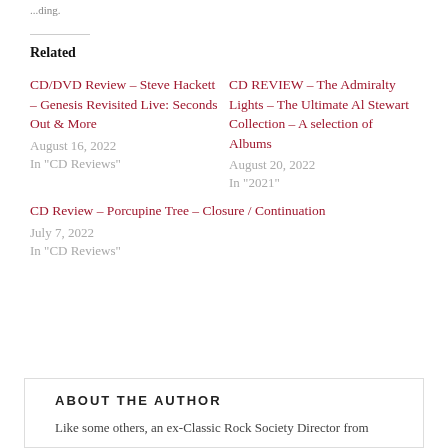...ding.
Related
CD/DVD Review – Steve Hackett – Genesis Revisited Live: Seconds Out & More
August 16, 2022
In "CD Reviews"
CD REVIEW – The Admiralty Lights – The Ultimate Al Stewart Collection – A selection of Albums
August 20, 2022
In "2021"
CD Review – Porcupine Tree – Closure / Continuation
July 7, 2022
In "CD Reviews"
ABOUT THE AUTHOR
Like some others, an ex-Classic Rock Society Director from